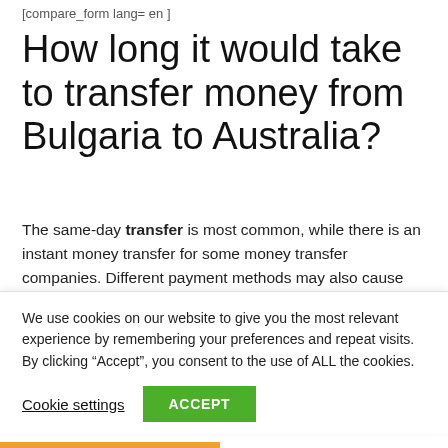[compare_form lang= en ]
How long it would take to transfer money from Bulgaria to Australia?
The same-day transfer is most common, while there is an instant money transfer for some money transfer companies. Different payment methods may also cause some delays in the delivery time. The longest time will usually take 3-banking days, which is also considered fast nowadays.
We use cookies on our website to give you the most relevant experience by remembering your preferences and repeat visits. By clicking “Accept”, you consent to the use of ALL the cookies.
Cookie settings  ACCEPT